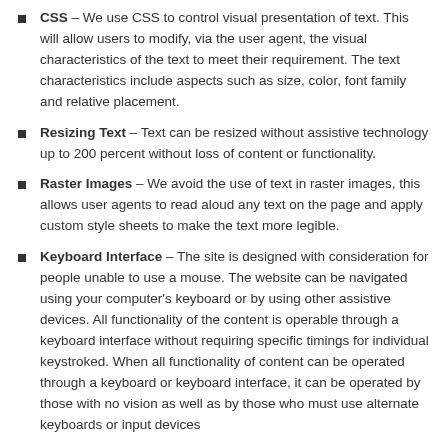CSS – We use CSS to control visual presentation of text. This will allow users to modify, via the user agent, the visual characteristics of the text to meet their requirement. The text characteristics include aspects such as size, color, font family and relative placement.
Resizing Text – Text can be resized without assistive technology up to 200 percent without loss of content or functionality.
Raster Images – We avoid the use of text in raster images, this allows user agents to read aloud any text on the page and apply custom style sheets to make the text more legible.
Keyboard Interface – The site is designed with consideration for people unable to use a mouse. The website can be navigated using your computer's keyboard or by using other assistive devices. All functionality of the content is operable through a keyboard interface without requiring specific timings for individual keystroked. When all functionality of content can be operated through a keyboard or keyboard interface, it can be operated by those with no vision as well as by those who must use alternate keyboards or input devices